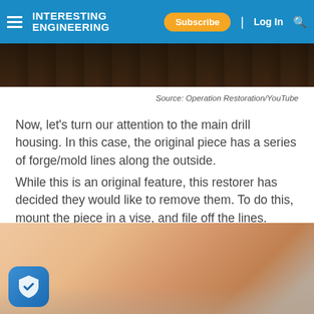INTERESTING ENGINEERING | Subscribe | Log In
[Figure (photo): Dark background image showing top portion of drill housing restoration scene]
Source: Operation Restoration/YouTube
Now, let's turn our attention to the main drill housing. In this case, the original piece has a series of forge/mold lines along the outside.
While this is an original feature, this restorer has decided they would like to remove them. To do this, mount the piece in a vise, and file off the lines.
[Figure (photo): Hands filing metal piece on a surface, showing the restoration process of removing forge/mold lines]